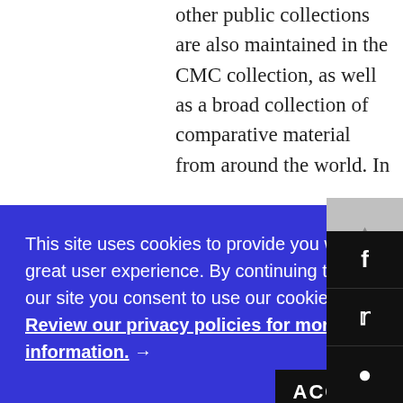other public collections are also maintained in the CMC collection, as well as a broad collection of comparative material from around the world. In
This site uses cookies to provide you with a great user experience. By continuing to use our site you consent to use our cookies. Review our privacy policies for more information. →
and publications containing reference to specimens in the collection) related to the catalogued collection items. Pertinent data, including georeference information and digitized images, subject to security and ethical concerns, are made available in on-line digital format on an on-going basis. Specimens in the Museum's collection are available to